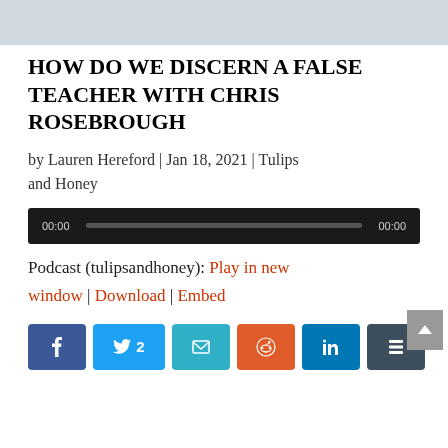[Figure (photo): Light blue/grey banner image at top of article page]
HOW DO WE DISCERN A FALSE TEACHER WITH CHRIS ROSEBROUGH
by Lauren Hereford | Jan 18, 2021 | Tulips and Honey
[Figure (other): Audio player with time 00:00 / 00:00 and progress bar]
Podcast (tulipsandhoney): Play in new window | Download | Embed
[Figure (other): Social share buttons: Facebook, Twitter (2), Email, Reddit, LinkedIn, Buffer]